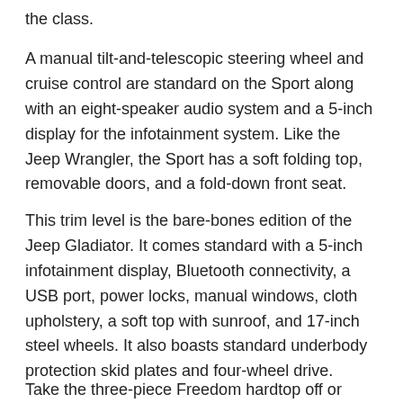the class.
A manual tilt-and-telescopic steering wheel and cruise control are standard on the Sport along with an eight-speaker audio system and a 5-inch display for the infotainment system. Like the Jeep Wrangler, the Sport has a soft folding top, removable doors, and a fold-down front seat.
This trim level is the bare-bones edition of the Jeep Gladiator. It comes standard with a 5-inch infotainment display, Bluetooth connectivity, a USB port, power locks, manual windows, cloth upholstery, a soft top with sunroof, and 17-inch steel wheels. It also boasts standard underbody protection skid plates and four-wheel drive.
Take the three-piece Freedom hardtop off or